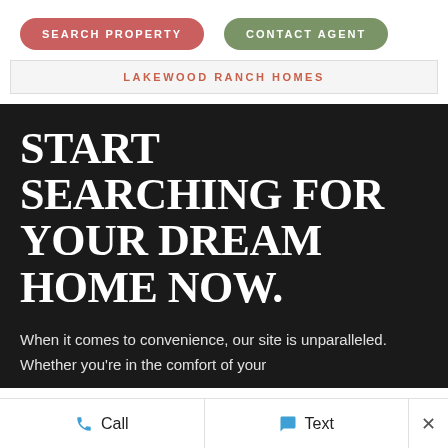SEARCH PROPERTY
CONTACT AGENT
LAKEWOOD RANCH HOMES
START SEARCHING FOR YOUR DREAM HOME NOW.
When it comes to convenience, our site is unparalleled. Whether you're in the comfort of your
Call   Text   ×